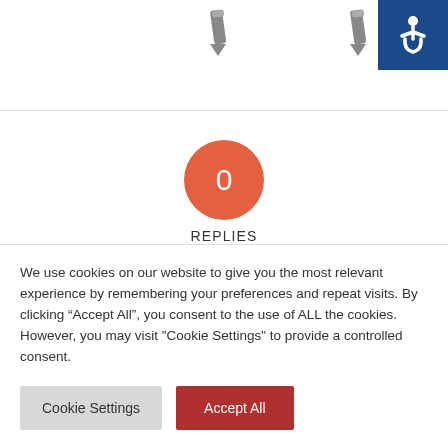[Figure (illustration): Two pencil/edit icons at the top of the page, one in the center-left area and one in the center-right area, against a white background. An accessibility (wheelchair) icon badge in the top-right corner with a blue background.]
0
REPLIES
Leave a Reply
We use cookies on our website to give you the most relevant experience by remembering your preferences and repeat visits. By clicking “Accept All”, you consent to the use of ALL the cookies. However, you may visit "Cookie Settings" to provide a controlled consent.
Cookie Settings
Accept All